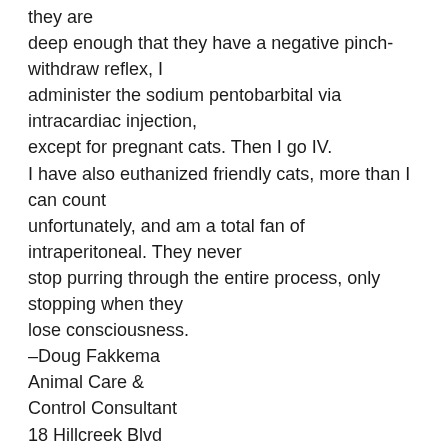they are deep enough that they have a negative pinch-withdraw reflex, I administer the sodium pentobarbital via intracardiac injection, except for pregnant cats. Then I go IV. I have also euthanized friendly cats, more than I can count unfortunately, and am a total fan of intraperitoneal. They never stop purring through the entire process, only stopping when they lose consciousness. –Doug Fakkema Animal Care & Control Consultant 18 Hillcreek Blvd Charleston, SC 29412